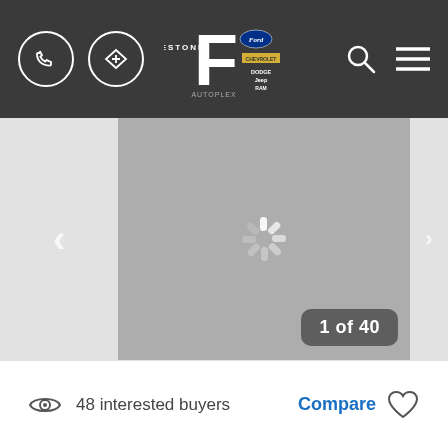[Figure (screenshot): Freestone Autoplex dealership website header with phone icon, directions icon, dealership logo (F with Ford, Chevrolet, Dodge, Jeep, RAM brand logos), search icon, and hamburger menu icon on dark gray background]
[Figure (photo): Gray loading placeholder image with spinning loader icon in center, navigation arrows on sides, and '1 of 40' counter badge in bottom right]
48 interested buyers
Compare